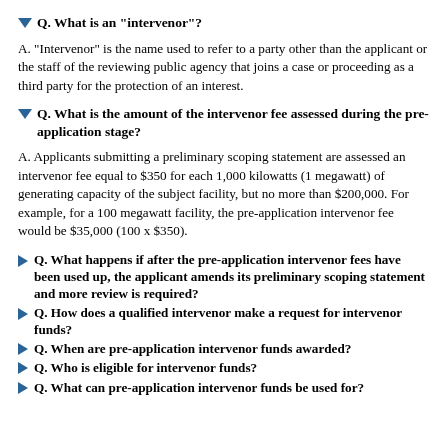Q. What is an "intervenor"?
A. "Intervenor" is the name used to refer to a party other than the applicant or the staff of the reviewing public agency that joins a case or proceeding as a third party for the protection of an interest.
Q. What is the amount of the intervenor fee assessed during the pre-application stage?
A. Applicants submitting a preliminary scoping statement are assessed an intervenor fee equal to $350 for each 1,000 kilowatts (1 megawatt) of generating capacity of the subject facility, but no more than $200,000. For example, for a 100 megawatt facility, the pre-application intervenor fee would be $35,000 (100 x $350).
Q. What happens if after the pre-application intervenor fees have been used up, the applicant amends its preliminary scoping statement and more review is required?
Q. How does a qualified intervenor make a request for intervenor funds?
Q. When are pre-application intervenor funds awarded?
Q. Who is eligible for intervenor funds?
Q. What can pre-application intervenor funds be used for?